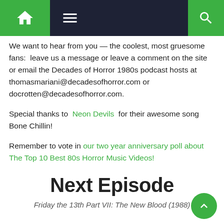Navigation bar with home icon, menu icon, and search icon
We want to hear from you — the coolest, most gruesome fans:  leave us a message or leave a comment on the site or email the Decades of Horror 1980s podcast hosts at thomasmariani@decadesofhorror.com or docrotten@decadesofhorror.com.
Special thanks to  Neon Devils  for their awesome song Bone Chillin!
Remember to vote in our two year anniversary poll about The Top 10 Best 80s Horror Music Videos!
Next Episode
Friday the 13th Part VII: The New Blood (1988)